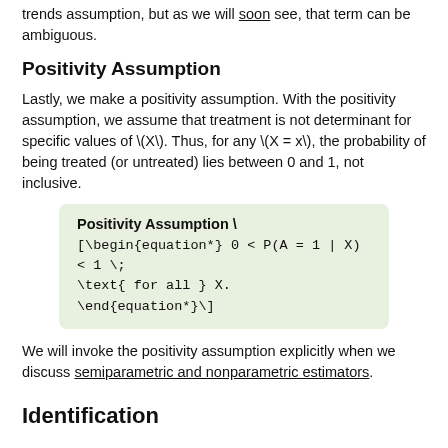trends assumption, but as we will soon see, that term can be ambiguous.
Positivity Assumption
Lastly, we make a positivity assumption. With the positivity assumption, we assume that treatment is not determinant for specific values of \(X\). Thus, for any \(X = x\), the probability of being treated (or untreated) lies between 0 and 1, not inclusive.
We will invoke the positivity assumption explicitly when we discuss semiparametric and nonparametric estimators.
Identification